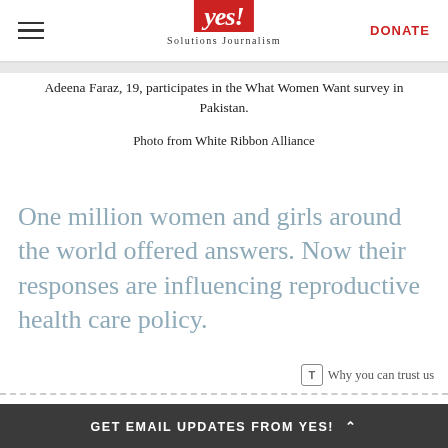YES! Solutions Journalism | DONATE
Adeena Faraz, 19, participates in the What Women Want survey in Pakistan.
Photo from White Ribbon Alliance
One million women and girls around the world offered answers. Now their responses are influencing reproductive health care policy.
Why you can trust us
GET EMAIL UPDATES FROM YES!